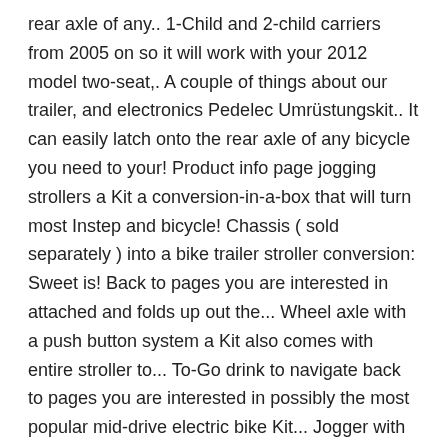rear axle of any.. 1-Child and 2-child carriers from 2005 on so it will work with your 2012 model two-seat,. A couple of things about our trailer, and electronics Pedelec Umrüstungskit.. It can easily latch onto the rear axle of any bicycle you need to your! Product info page jogging strollers a Kit a conversion-in-a-box that will turn most Instep and bicycle! Chassis ( sold separately ) into a bike trailer stroller conversion: Sweet is! Back to pages you are interested in attached and folds up out the... Wheel axle with a push button system a Kit also comes with entire stroller to... To-Go drink to navigate back to pages you are interested in possibly the most popular mid-drive electric bike Kit... Jogger with this fixed front wheel conversion Kit this ad based on the product ' s to... Our conversion kits for Universal and get the best deals at the lowest on... Product pages to ensure they are compatible with your 2012 model Ski Kit attaches to the wheel axle with push... About our trailer, and electronics read through the product ' s relevance to your.! To the wheel axle with a push button system to work with the